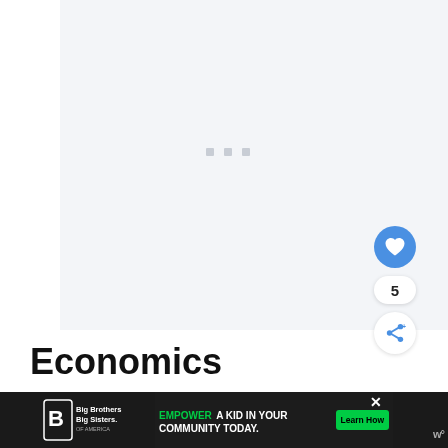[Figure (other): Light gray placeholder content area with three small gray squares/dots in the center indicating a loading state. A circular blue heart/like button, a count of 5, and a share button are positioned on the right side.]
Economics
[Figure (other): Bottom advertisement banner: Big Brothers Big Sisters logo on dark background, green 'EMPOWER' text ad saying 'A KID IN YOUR COMMUNITY TODAY.' with a 'Learn How' green button, and a close X button. WeatherBug icon on far right.]